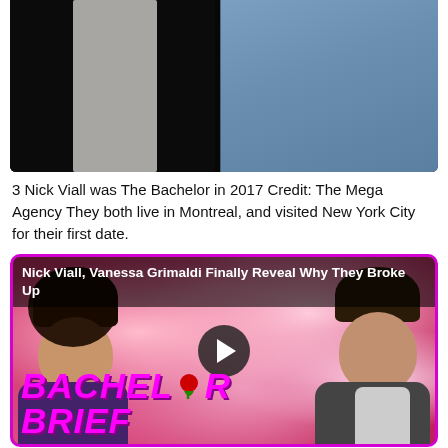[Figure (photo): Photo of two people, one in a black tuxedo/suit on the left and one in a blue top on the right, cropped at top of page]
3 Nick Viall was The Bachelor in 2017 Credit: The Mega Agency They both live in Montreal, and visited New York City for their first date.
[Figure (screenshot): Video thumbnail with text 'Nick Viall, Vanessa Grimaldi Finally Reveal Why They Broke Up' and 'BACHELOR BRIEF' branding with a rose icon and play button, showing a man and woman in front of pink roses background]
is dating surgical technologist , a source tells PEOPLE.